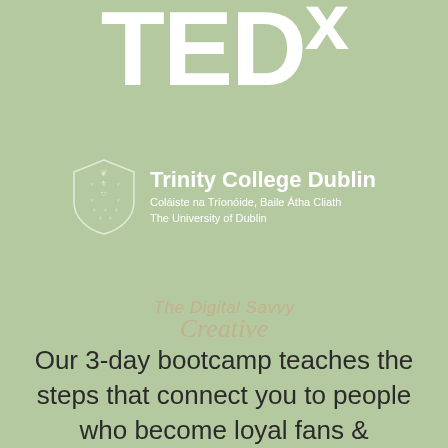[Figure (logo): TEDx logo in large white bold text with superscript x]
[Figure (logo): Trinity College Dublin crest/shield logo alongside text: Trinity College Dublin, Coláiste na Tríonóide, Baile Átha Cliath, The University of Dublin]
[Figure (logo): Watermark logo reading 'The Digital Savvy Creative' in italic/script style text in muted tan color]
Our 3-day bootcamp teaches the steps that connect you to people who become loyal fans &